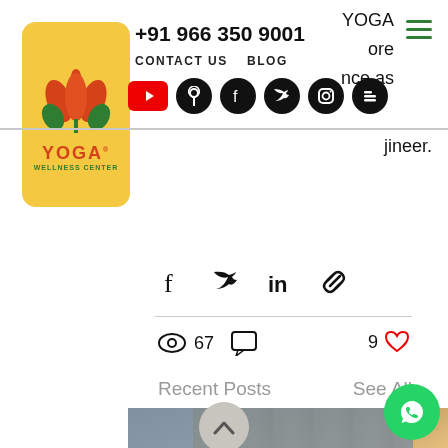[Figure (logo): Yoga Wellness Center logo on yellow rounded rectangle background with lotus flower icon in red/orange and green.]
+91 966 350 9001
CONTACT US   BLOG
[Figure (infographic): Social media icons row: YouTube, location pin, Facebook, Twitter, Instagram, Blogger]
YOGA
ore
nce as
jineer.
[Figure (infographic): Share icons row: Facebook, Twitter, LinkedIn, link/chain]
67
9
Recent Posts
See All
[Figure (photo): Three partially visible photos of people doing yoga/meditation]